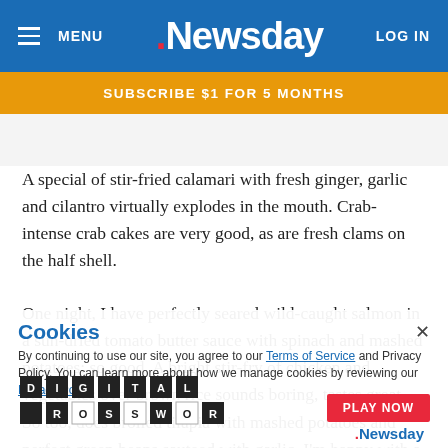MENU | Newsday | LOG IN
SUBSCRIBE $1 FOR 5 MONTHS
A special of stir-fried calamari with fresh ginger, garlic and cilantro virtually explodes in the mouth. Crab-intense crab cakes are very good, as are fresh clams on the half shell.
One night, I have perfectly seared wild-caught salmon in a sun-dried tomato butter sauce with spinach and mashed potatoes; so good. A bright stir-fry of chicken and vegetables over brown rice sounds boring, tastes great. So too, does broiled tilapia with mashed potatoes and perfect green beans sauteed with garlic. I'm happy with a mar...cookies by reviewing our Privacy Policy. ...sted potato...
Cookies
×
By continuing to use our site, you agree to our Terms of Service and Privacy Policy. You can learn more about how we manage cookies by reviewing our Privacy Policy.
[Figure (other): DIGITAL CROSSWORD advertisement overlay with PLAY NOW button and Newsday logo]